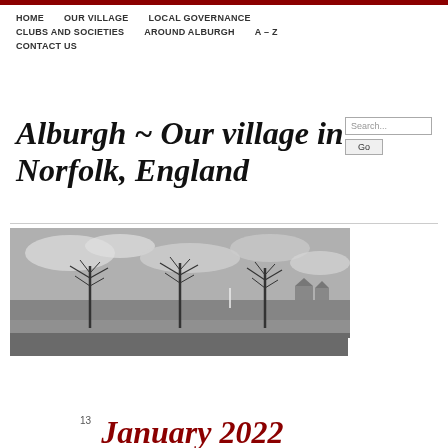HOME   OUR VILLAGE   LOCAL GOVERNANCE   CLUBS AND SOCIETIES   AROUND ALBURGH   A – Z   CONTACT US
Alburgh ~ Our village in Norfolk, England
[Figure (photo): Black and white panoramic photograph of Alburgh village showing open fields, bare trees, and houses in the background under a cloudy sky]
13 January 2022